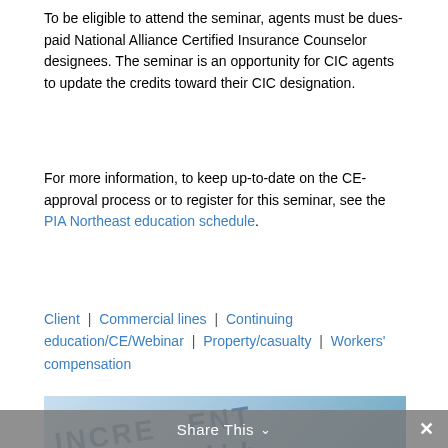To be eligible to attend the seminar, agents must be dues-paid National Alliance Certified Insurance Counselor designees. The seminar is an opportunity for CIC agents to update the credits toward their CIC designation.
For more information, to keep up-to-date on the CE-approval process or to register for this seminar, see the PIA Northeast education schedule.
Client | Commercial lines | Continuing education/CE/Webinar | Property/casualty | Workers' compensation
[Figure (photo): Close-up photo of a document with large bold text reading 'INCRE...' and italic text 'One that has high' and partial text 'NITY' visible at the bottom, in blue tones.]
Share This  ×